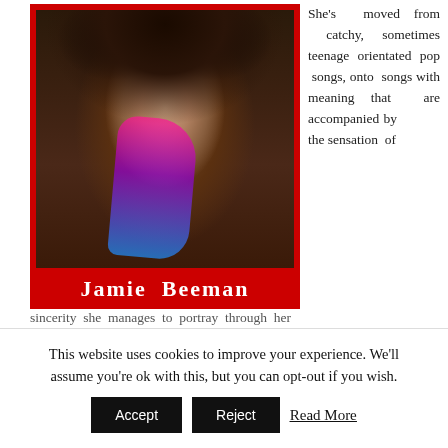[Figure (photo): Photo of Jamie Beeman, a woman with dark hair and colorful pink/blue/purple streaks, smiling, wearing a black jacket. Photo is framed in a red card with her name 'Jamie Beeman' printed at the bottom in white bold text on red background.]
She's moved from catchy, sometimes teenage orientated pop songs, onto songs with meaning that are accompanied by the sensation of sincerity she manages to portray through her
This website uses cookies to improve your experience. We'll assume you're ok with this, but you can opt-out if you wish.